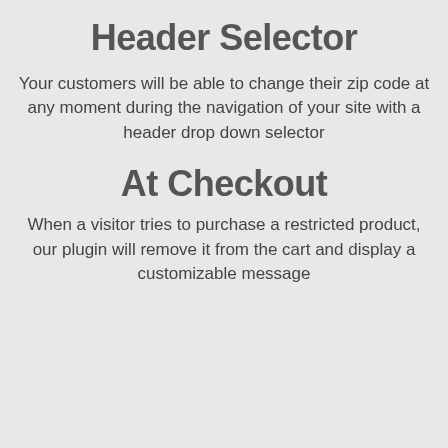Header Selector
Your customers will be able to change their zip code at any moment during the navigation of your site with a header drop down selector
At Checkout
When a visitor tries to purchase a restricted product, our plugin will remove it from the cart and display a customizable message